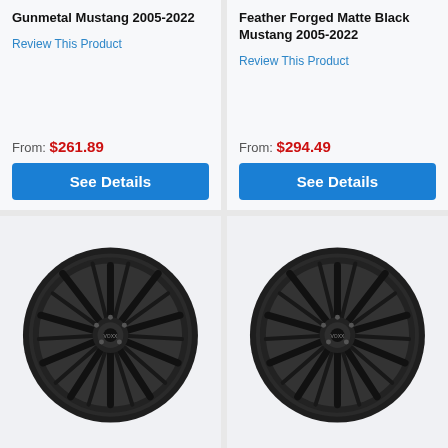Gunmetal Mustang 2005-2022
Review This Product
From: $261.89
See Details
Feather Forged Matte Black Mustang 2005-2022
Review This Product
From: $294.49
See Details
[Figure (photo): Black multi-spoke car wheel (Voxx brand) on light background]
[Figure (photo): Black multi-spoke car wheel (Voxx brand) on light background]